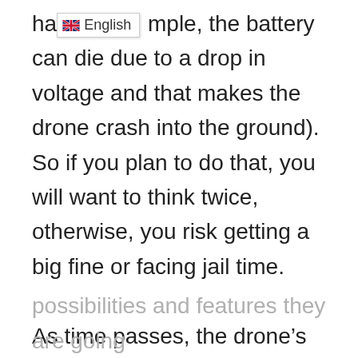ha[English badge]mple, the battery can die due to a drop in voltage and that makes the drone crash into the ground). So if you plan to do that, you will want to think twice, otherwise, you risk getting a big fine or facing jail time.

As time passes, the drone’s technology is going to evolve even more, and we are curiously waiting to see what other possibilities and features they are going